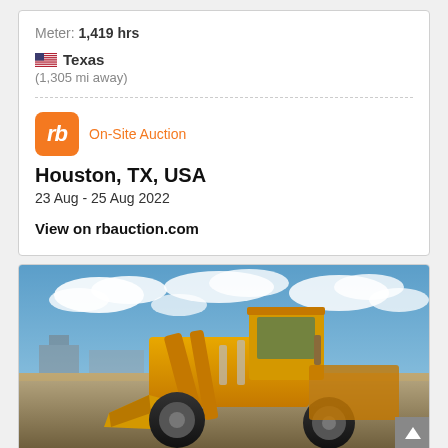Meter: 1,419 hrs
Texas (1,305 mi away)
On-Site Auction
Houston, TX, USA
23 Aug - 25 Aug 2022
View on rbauction.com
[Figure (photo): Yellow wheel loader / front-end loader at an outdoor auction site. Blue sky with white clouds in background. Construction equipment yard visible.]